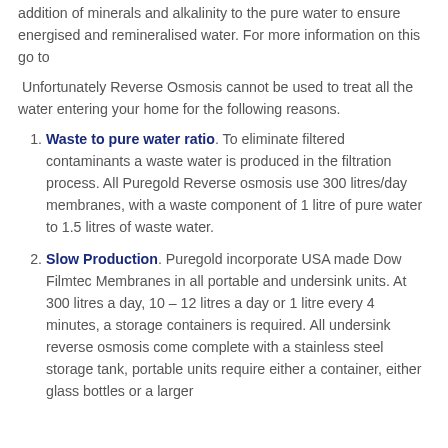addition of minerals and alkalinity to the pure water to ensure energised and remineralised water. For more information on this go to
Unfortunately Reverse Osmosis cannot be used to treat all the water entering your home for the following reasons.
Waste to pure water ratio. To eliminate filtered contaminants a waste water is produced in the filtration process. All Puregold Reverse osmosis use 300 litres/day membranes, with a waste component of 1 litre of pure water to 1.5 litres of waste water.
Slow Production. Puregold incorporate USA made Dow Filmtec Membranes in all portable and undersink units. At 300 litres a day, 10 – 12 litres a day or 1 litre every 4 minutes, a storage containers is required. All undersink reverse osmosis come complete with a stainless steel storage tank, portable units require either a container, either glass bottles or a larger